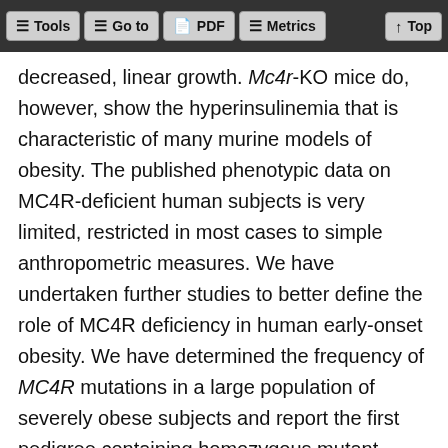Tools | Go to | PDF | Metrics | Top
decreased, linear growth. Mc4r-KO mice do, however, show the hyperinsulinemia that is characteristic of many murine models of obesity. The published phenotypic data on MC4R-deficient human subjects is very limited, restricted in most cases to simple anthropometric measures. We have undertaken further studies to better define the role of MC4R deficiency in human early-onset obesity. We have determined the frequency of MC4R mutations in a large population of severely obese subjects and report the first pedigree containing homozygous mutant subjects. We report the detailed clinical phenotype of nine affected subjects from three different pedigrees including measurements of body composition, energy expenditure, intake at a test meal, and endocrine physiology. Finally, our studies